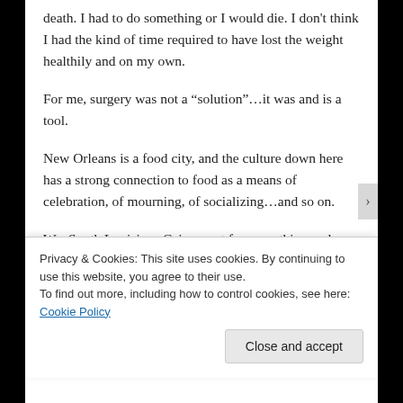death. I had to do something or I would die. I don't think I had the kind of time required to have lost the weight healthily and on my own.
For me, surgery was not a “solution”…it was and is a tool.
New Orleans is a food city, and the culture down here has a strong connection to food as a means of celebration, of mourning, of socializing…and so on.
We, South Louisiana Cajuns, eat for everything and so the social aspect and being included is integral to our way of life and culture. The need to participate is strong and so like when I could not enjoy the rides at amusement parks, not being able to eat like
Privacy & Cookies: This site uses cookies. By continuing to use this website, you agree to their use.
To find out more, including how to control cookies, see here: Cookie Policy
Close and accept